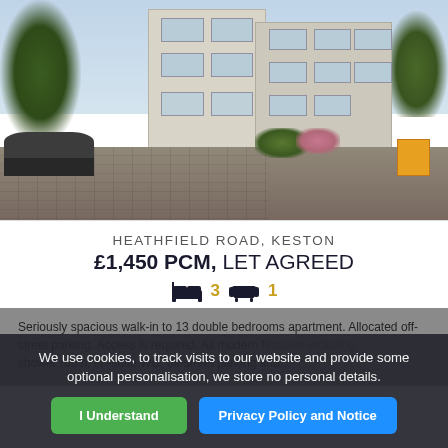[Figure (photo): Exterior photograph of a large white/cream rendered apartment building with multiple windows, a brick paved driveway, parked car on the left, trees in the background, and garden shrubs.]
HEATHFIELD ROAD, KESTON
£1,450 PCM, LET AGREED
3 bedrooms, 1 reception
Seriously spacious walk-in to 13 double bedrooms apartment. Allocated off-street parking. Access is required. All modern features including shower room, en-suite WC, off-street parking and...
We use cookies, to track visits to our website and provide some optional personalisation, we store no personal details.